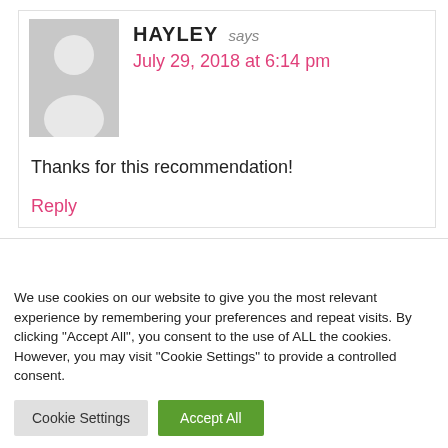[Figure (illustration): Gray silhouette avatar of a person (default user profile image)]
HAYLEY says
July 29, 2018 at 6:14 pm
Thanks for this recommendation!
Reply
We use cookies on our website to give you the most relevant experience by remembering your preferences and repeat visits. By clicking "Accept All", you consent to the use of ALL the cookies. However, you may visit "Cookie Settings" to provide a controlled consent.